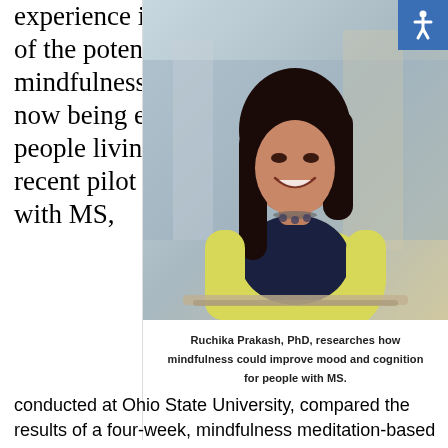experience illustrates some of the potential benefits of mindfulness meditation now being explored for people living with MS. A recent pilot study of people with MS,
[Figure (photo): Photo of Ruchika Prakash, PhD, a woman with long dark hair wearing a yellow cardigan and dark top, smiling in what appears to be a university or mall setting.]
Ruchika Prakash, PhD, researches how mindfulness could improve mood and cognition for people with MS.
conducted at Ohio State University, compared the results of a four-week, mindfulness meditation-based